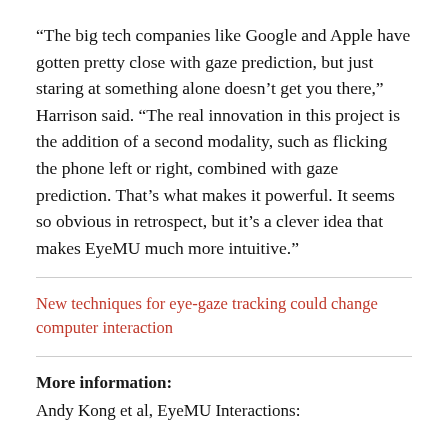“The big tech companies like Google and Apple have gotten pretty close with gaze prediction, but just staring at something alone doesn’t get you there,” Harrison said. “The real innovation in this project is the addition of a second modality, such as flicking the phone left or right, combined with gaze prediction. That’s what makes it powerful. It seems so obvious in retrospect, but it’s a clever idea that makes EyeMU much more intuitive.”
New techniques for eye-gaze tracking could change computer interaction
More information: Andy Kong et al, EyeMU Interactions: